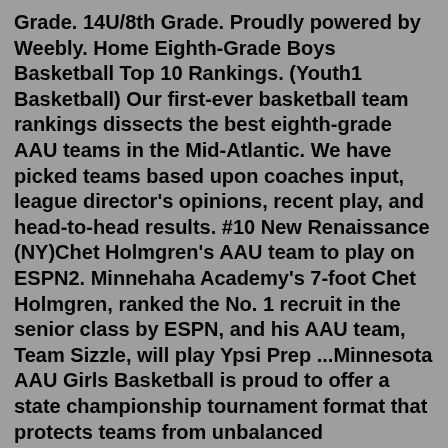Grade. 14U/8th Grade. Proudly powered by Weebly. Home Eighth-Grade Boys Basketball Top 10 Rankings. (Youth1 Basketball) Our first-ever basketball team rankings dissects the best eighth-grade AAU teams in the Mid-Atlantic. We have picked teams based upon coaches input, league director's opinions, recent play, and head-to-head results. #10 New Renaissance (NY)Chet Holmgren's AAU team to play on ESPN2. Minnehaha Academy's 7-foot Chet Holmgren, ranked the No. 1 recruit in the senior class by ESPN, and his AAU team, Team Sizzle, will play Ypsi Prep ...Minnesota AAU Girls Basketball is proud to offer a state championship tournament format that protects teams from unbalanced competition and determines which teams will play in the Division I or Division II Championship brackets Real Witches In Florida Get the latest College Basketball rankings for the 2020-21 season The 2020-21 Basketball ...Ranking by Region. Ranking by State. Position Rankings. 2023 ESPN Centers. 2023